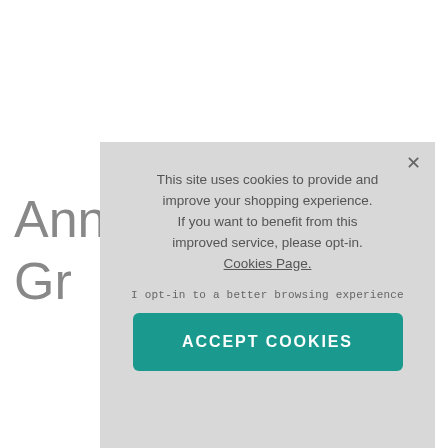Annika D
Gr
This site uses cookies to provide and improve your shopping experience. If you want to benefit from this improved service, please opt-in. Cookies Page.

I opt-in to a better browsing experience
ACCEPT COOKIES